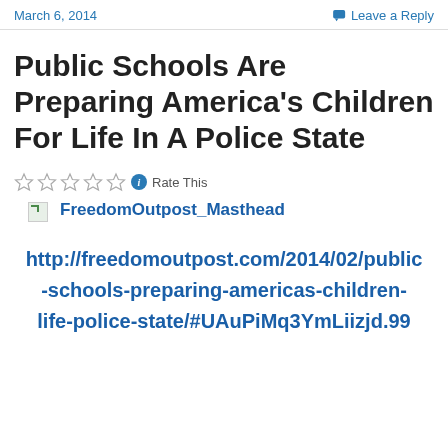March 6, 2014
Leave a Reply
Public Schools Are Preparing America's Children For Life In A Police State
Rate This
[Figure (other): Broken image placeholder thumbnail]
FreedomOutpost_Masthead
http://freedomoutpost.com/2014/02/public-schools-preparing-americas-children-life-police-state/#UAuPiMq3YmLiizjd.99